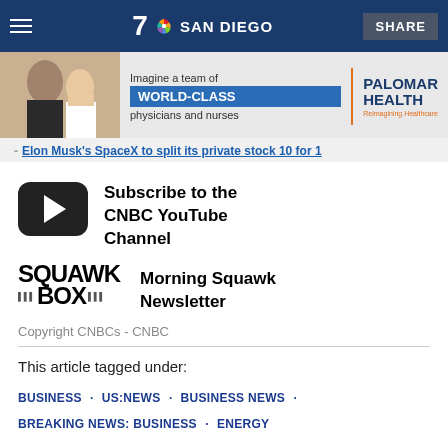7 SAN DIEGO | SHARE
[Figure (photo): Advertisement banner for Palomar Health featuring two medical professionals with text 'Imagine a team of WORLD-CLASS physicians and nurses | PALOMAR HEALTH Reimagining Healthcare']
Elon Musk's SpaceX to split its private stock 10 for 1
[Figure (logo): YouTube play button icon (black rounded rectangle with white triangle)]
Subscribe to the CNBC YouTube Channel
[Figure (logo): Squawk Box logo]
Morning Squawk Newsletter
Copyright CNBCs - CNBC
This article tagged under:
BUSINESS · US:NEWS · BUSINESS NEWS · BREAKING NEWS: BUSINESS · ENERGY